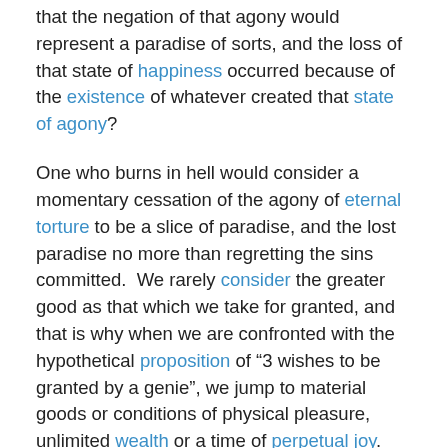that the negation of that agony would represent a paradise of sorts, and the loss of that state of happiness occurred because of the existence of whatever created that state of agony?
One who burns in hell would consider a momentary cessation of the agony of eternal torture to be a slice of paradise, and the lost paradise no more than regretting the sins committed.  We rarely consider the greater good as that which we take for granted, and that is why when we are confronted with the hypothetical proposition of "3 wishes to be granted by a genie", we jump to material goods or conditions of physical pleasure, unlimited wealth or a time of perpetual joy.
Rarely do we include the wish for good health when we already enjoy it, precisely because the paradise one lives in, until lost, is assumed as eternally granted.